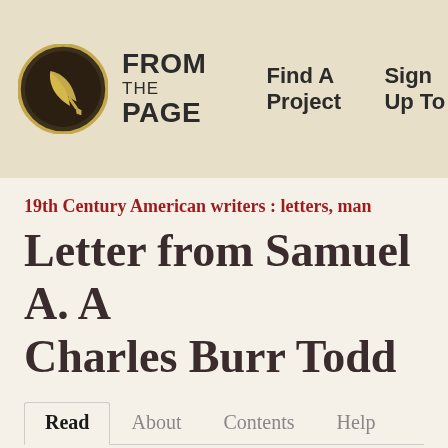[Figure (logo): FromThePage logo: circular emblem with a quill pen on dark background, with text 'FROM THE PAGE' beside it]
Find A Project   Sign Up To
19th Century American writers : letters, man
Letter from Samuel A. A... Charles Burr Todd
Read   About   Contents   Help
This is a scanned version of the original document. Collection at Middlebury College.
Pages That Need Transcription